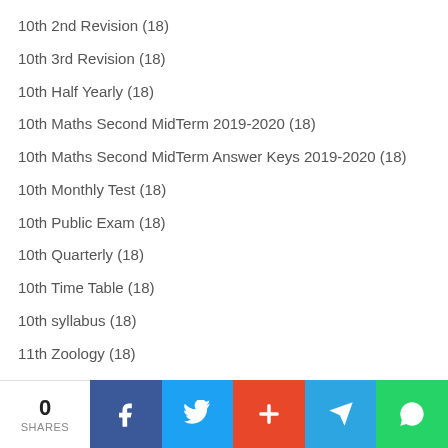10th 2nd Revision (18)
10th 3rd Revision (18)
10th Half Yearly (18)
10th Maths Second MidTerm 2019-2020 (18)
10th Maths Second MidTerm Answer Keys 2019-2020 (18)
10th Monthly Test (18)
10th Public Exam (18)
10th Quarterly (18)
10th Time Table (18)
10th syllabus (18)
11th Zoology (18)
Employment Zone (18)
0 SHARES | Facebook | Twitter | Plus | Telegram | WhatsApp